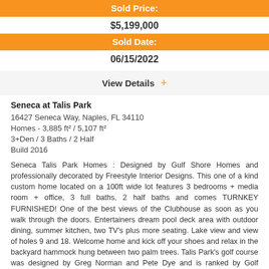Sold Price:
$5,199,000
Sold Date:
06/15/2022
View Details +
Seneca at Talis Park
16427 Seneca Way, Naples, FL 34110
Homes - 3,885 ft² / 5,107 ft²
3+Den / 3 Baths / 2 Half
Build 2016
Seneca Talis Park Homes : Designed by Gulf Shore Homes and professionally decorated by Freestyle Interior Designs. This one of a kind custom home located on a 100ft wide lot features 3 bedrooms + media room + office, 3 full baths, 2 half baths and comes TURNKEY FURNISHED! One of the best views of the Clubhouse as soon as you walk through the doors. Entertainers dream pool deck area with outdoor dining, summer kitchen, two TV's plus more seating. Lake view and view of holes 9 and 18. Welcome home and kick off your shoes and relax in the backyard hammock hung between two palm trees. Talis Park's golf course was designed by Greg Norman and Pete Dye and is ranked by Golf Digest as one of Florida's top 20 courses. "Vyne House" (voted